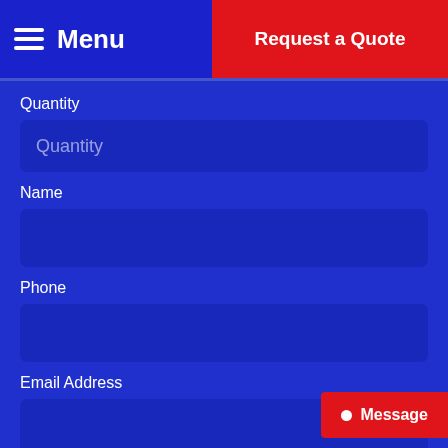Menu
Request a Quote
Quantity
Name
Phone
Email Address
Design (Ai, Cdr, Pdf, Doc, Jpg, Png, Jpeg)
Choose File  No file chosen
Message